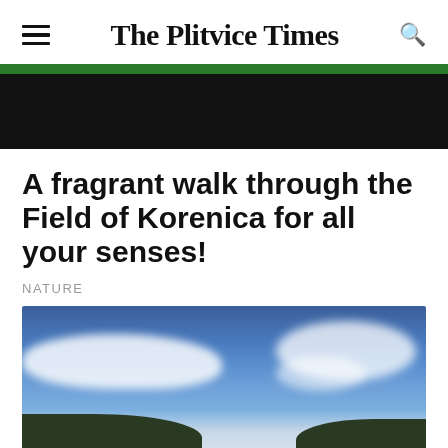The Plitvice Times
A fragrant walk through the Field of Korenica for all your senses!
NATURE
[Figure (photo): Landscape photo showing a wide blue sky with white clouds and dark green hills visible at the bottom corners]